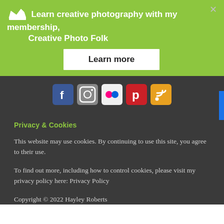[Figure (infographic): Green banner with crown icon and text 'Learn creative photography with my membership, Creative Photo Folk' with a 'Learn more' button and a close (x) button]
[Figure (infographic): Row of 5 social media icons: Facebook, Instagram, Flickr, Pinterest, RSS feed — on dark background]
Privacy & Cookies
This website may use cookies. By continuing to use this site, you agree to their use.
To find out more, including how to control cookies, please visit my privacy policy here: Privacy Policy
Copyright © 2022 Hayley Roberts